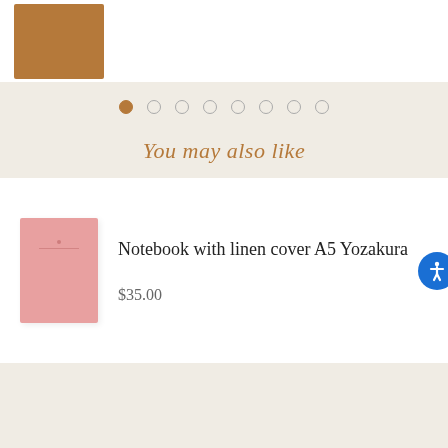[Figure (photo): Tan/brown leather notebook partially visible at top of page on white background]
[Figure (other): Carousel dot navigation with 8 dots; first dot filled brown, rest are empty circles]
You may also like
[Figure (photo): Pink linen-covered notebook (A5 Yozakura) shown in a product card]
Notebook with linen cover A5 Yozakura
$35.00